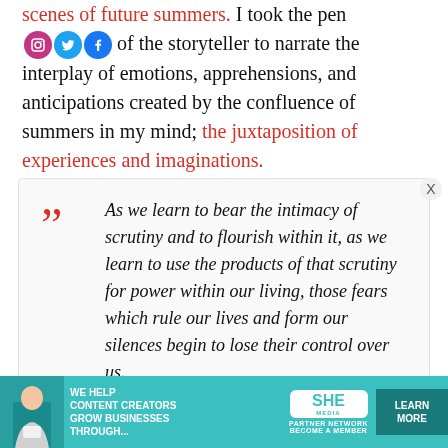scenes of future summers. I took the pen [social icons] of the storyteller to narrate the interplay of emotions, apprehensions, and anticipations created by the confluence of summers in my mind; the juxtaposition of experiences and imaginations.
As we learn to bear the intimacy of scrutiny and to flourish within it, as we learn to use the products of that scrutiny for power within our living, those fears which rule our lives and form our silences begin to lose their control over us.
[Figure (infographic): Advertisement banner for SHE Media Partner Network with teal background. Shows a woman with laptop, text 'We help content creators grow businesses through...', SHE Partner Network logo, and a 'Learn More' button.]